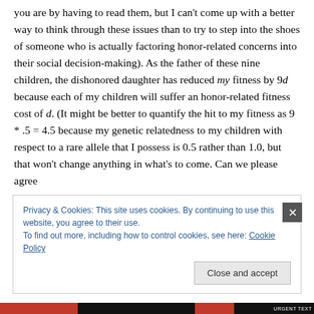you are by having to read them, but I can't come up with a better way to think through these issues than to try to step into the shoes of someone who is actually factoring honor-related concerns into their social decision-making). As the father of these nine children, the dishonored daughter has reduced my fitness by 9d because each of my children will suffer an honor-related fitness cost of d. (It might be better to quantify the hit to my fitness as 9 * .5 = 4.5 because my genetic relatedness to my children with respect to a rare allele that I possess is 0.5 rather than 1.0, but that won't change anything in what's to come. Can we please agree
Privacy & Cookies: This site uses cookies. By continuing to use this website, you agree to their use.
To find out more, including how to control cookies, see here: Cookie Policy
Close and accept